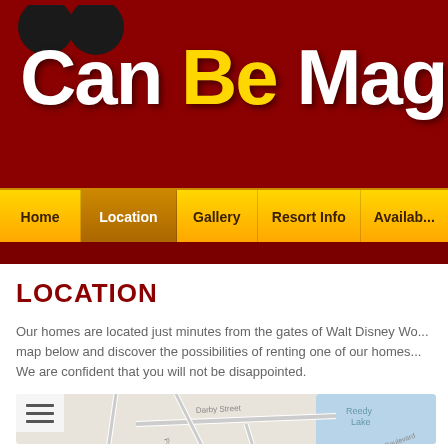CanBeMag... (website header logo — CanBeMagic)
Home | Location | Gallery | Resort Info | Availabi...
LOCATION
Our homes are located just minutes from the gates of Walt Disney Wo... map below and discover the possibilities of renting one of our homes... We are confident that you will not be disappointed.
[Figure (map): Google Maps screenshot showing streets near Teascone Boulevard with a red location pin marker, street names including Darby Street, Pawnall Street, Dirnville Street, Teascone Boulevard, and nearby lake (Reedy Lake). Hamburger menu icon in top-left of map.]